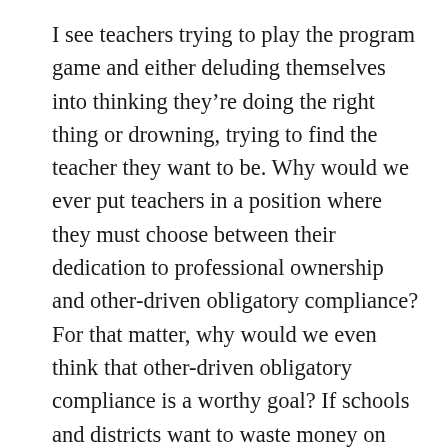I see teachers trying to play the program game and either deluding themselves into thinking they're doing the right thing or drowning, trying to find the teacher they want to be. Why would we ever put teachers in a position where they must choose between their dedication to professional ownership and other-driven obligatory compliance? For that matter, why would we even think that other-driven obligatory compliance is a worthy goal? If schools and districts want to waste money on these programs, I can't stop them, but please don't take teachers down with you who actually know what they're doing and want to do it. Give them the option to put the program aside. Don't ask our star players